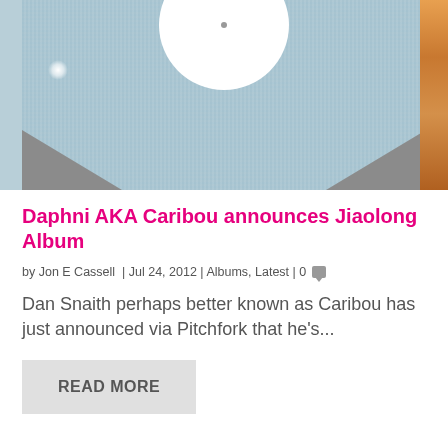[Figure (photo): Album cover art showing a vinyl record with light blue/grey textured surface and a white circular label, with dark triangular cutouts at the bottom and an orange/colorful element on the right edge]
Daphni AKA Caribou announces Jiaolong Album
by Jon E Cassell | Jul 24, 2012 | Albums, Latest | 0
Dan Snaith perhaps better known as Caribou has just announced via Pitchfork that he's...
READ MORE